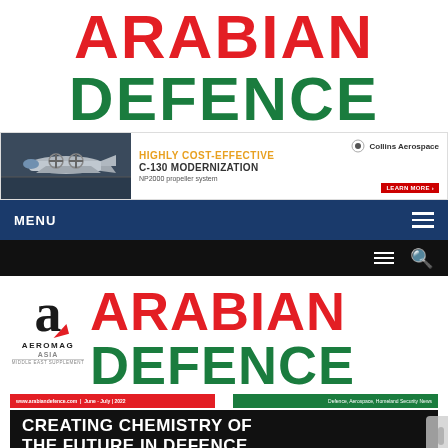ARABIAN DEFENCE
[Figure (screenshot): Advertisement banner for Collins Aerospace showing a C-130 military aircraft with text: HIGHLY COST-EFFECTIVE C-130 MODERNIZATION, NP2000 propeller system, Collins Aerospace logo, LEARN MORE button]
MENU
[Figure (screenshot): Secondary navigation bar with hamburger menu icon and search icon on dark/black background]
[Figure (logo): Arabian Defence magazine cover showing Aeromag Asia Middle East Supplement logo on left and ARABIAN DEFENCE title in red and green on right]
www.arabiandefence.com | June - July | 2022    Defence, Aerospace, Homeland Security News
CREATING CHEMISTRY OF THE FUTURE IN DEFENCE